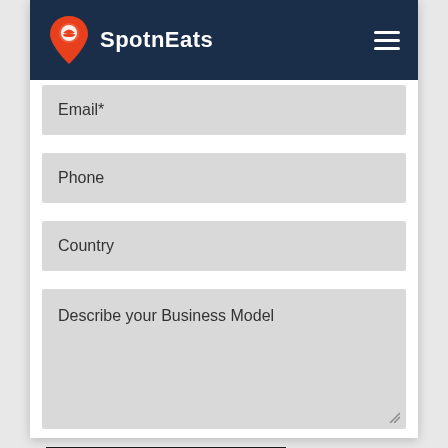SpotnEats
Email*
Phone
Country
Describe your Business Model
Lets Discuss